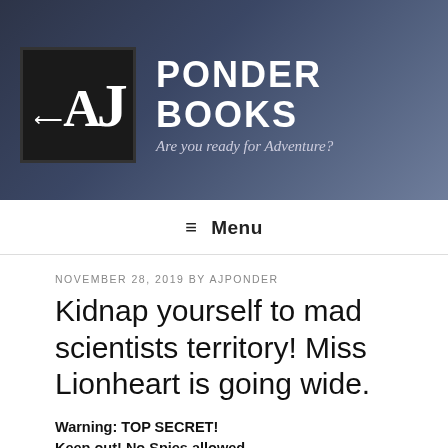[Figure (illustration): Ponder Books website header banner with dark blue/navy fantasy-style background showing a figure, with logo box containing stylized 'AJ' letters with sword motifs, site title 'PONDER BOOKS' and tagline 'Are you ready for Adventure?']
≡ Menu
NOVEMBER 28, 2019 BY AJPONDER
Kidnap yourself to mad scientists territory! Miss Lionheart is going wide.
Warning: TOP SECRET!
Keep out! No Spies allowed
This new development is extremely troubling… don't let anybody know Miss Lionheart's expose